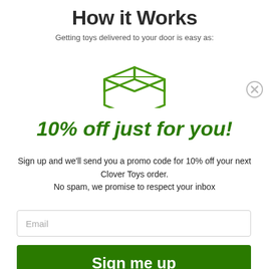How it Works
Getting toys delivered to your door is easy as:
[Figure (illustration): Green line-art icon of an open cardboard box / package]
10% off just for you!
Sign up and we'll send you a promo code for 10% off your next Clover Toys order. No spam, we promise to respect your inbox
Email
Sign me up
No Thanks